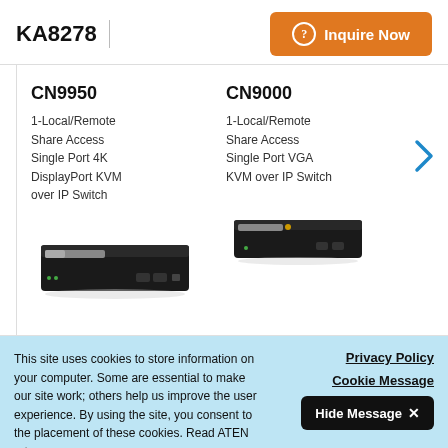KA8278
Inquire Now
CN9950
1-Local/Remote Share Access Single Port 4K DisplayPort KVM over IP Switch
[Figure (photo): Photo of CN9950 KVM switch device, black hardware unit with ports]
CN9000
1-Local/Remote Share Access Single Port VGA KVM over IP Switch
[Figure (photo): Photo of CN9000 KVM switch device, black hardware unit with ports]
This site uses cookies to store information on your computer. Some are essential to make our site work; others help us improve the user experience. By using the site, you consent to the placement of these cookies. Read ATEN Privacy Policy to learn more.
Privacy Policy
Cookie Message
Hide Message ✕